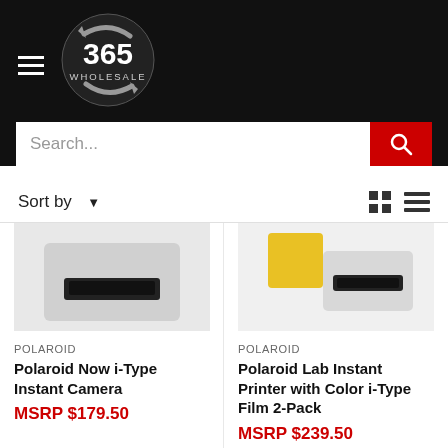[Figure (logo): 365 Wholesale circular logo with rotating arrows on black background]
Search...
Sort by
POLAROID
Polaroid Now i-Type Instant Camera
MSRP $179.50
POLAROID
Polaroid Lab Instant Printer with Color i-Type Film 2-Pack
MSRP $239.50